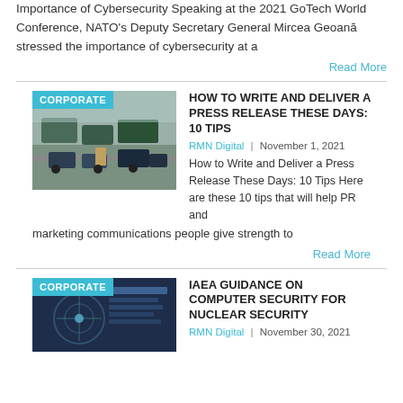Importance of Cybersecurity Speaking at the 2021 GoTech World Conference, NATO's Deputy Secretary General Mircea Geoană stressed the importance of cybersecurity at a
Read More
HOW TO WRITE AND DELIVER A PRESS RELEASE THESE DAYS: 10 TIPS
RMN Digital | November 1, 2021
How to Write and Deliver a Press Release These Days: 10 Tips Here are these 10 tips that will help PR and marketing communications people give strength to
Read More
IAEA GUIDANCE ON COMPUTER SECURITY FOR NUCLEAR SECURITY
RMN Digital | November 30, 2021